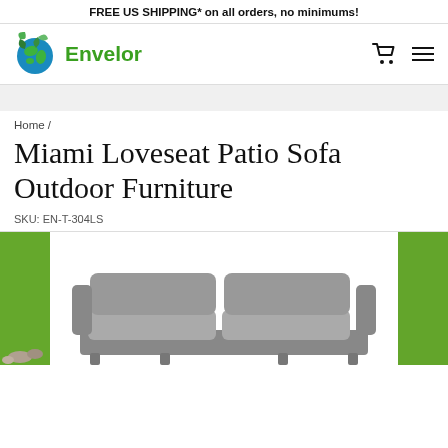FREE US SHIPPING* on all orders, no minimums!
[Figure (logo): Envelor logo: green globe with leaf icon and green bold text 'Envelor']
Home /
Miami Loveseat Patio Sofa Outdoor Furniture
SKU: EN-T-304LS
[Figure (photo): Product photo showing a gray cushioned loveseat patio sofa centered on a white background, with green grass/turf visible on left and right edges, shot from slightly above]